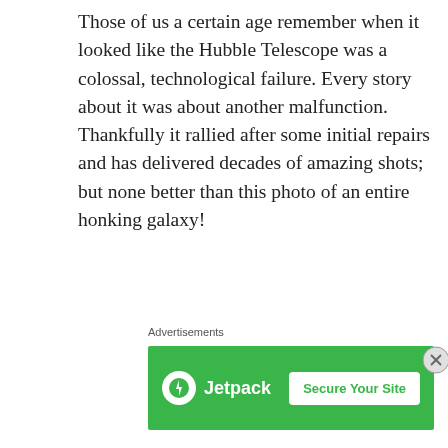Those of us a certain age remember when it looked like the Hubble Telescope was a colossal, technological failure. Every story about it was about another malfunction. Thankfully it rallied after some initial repairs and has delivered decades of amazing shots; but none better than this photo of an entire honking galaxy!
From some group called “NASA”:
The largest NASA Hubble Space Telescope image ever assembled, this sweeping bird’s-eye view of a portion of the Andromeda galaxy (M31) is the sharpest large
[Figure (screenshot): Jetpack advertisement banner with green background, Jetpack logo (white circle with lightning bolt), the text 'Jetpack', and a white 'Secure Your Site' button]